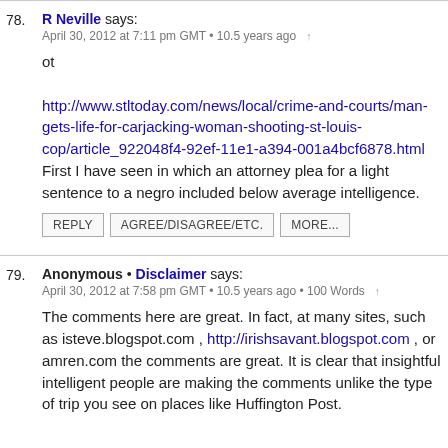78. R Neville says:
April 30, 2012 at 7:11 pm GMT • 10.5 years ago

ot
http://www.stltoday.com/news/local/crime-and-courts/man-gets-life-for-carjacking-woman-shooting-st-louis-cop/article_922048f4-92ef-11e1-a394-001a4bcf6878.html First I have seen in which an attorney plea for a light sentence to a negro included below average intelligence.

REPLY  AGREE/DISAGREE/ETC.  MORE...
79. Anonymous • Disclaimer says:
April 30, 2012 at 7:58 pm GMT • 10.5 years ago • 100 Words

The comments here are great. In fact, at many sites, such as isteve.blogspot.com , http://irishsavant.blogspot.com , or amren.com the comments are great. It is clear that insightful intelligent people are making the comments unlike the type of trip you see on places like Huffington Post.